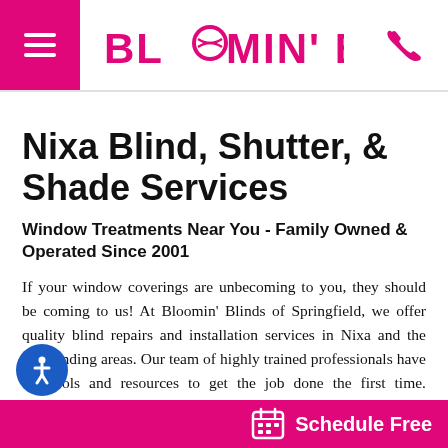Bloomin' Blinds – navigation header with menu icon, logo, and phone icon
Nixa Blind, Shutter, & Shade Services
Window Treatments Near You - Family Owned & Operated Since 2001
If your window coverings are unbecoming to you, they should be coming to us! At Bloomin' Blinds of Springfield, we offer quality blind repairs and installation services in Nixa and the surrounding areas. Our team of highly trained professionals have the tools and resources to get the job done the first time. Whether you want to fix your favorite shutters or w…
Schedule Free